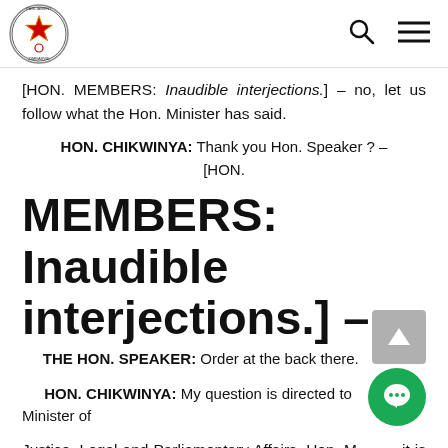Parliament of Zimbabwe
[HON. MEMBERS: Inaudible interjections.] – no, let us follow what the Hon. Minister has said.
HON. CHIKWINYA: Thank you Hon. Speaker ? – [HON.
MEMBERS: Inaudible interjections.] –
THE HON. SPEAKER: Order at the back there.
HON. CHIKWINYA: My question is directed to the Minister of
Justice, Legal and Parliamentary Affairs. Hon. Minister, it is my belief that you hold the portfolio of sustaining democracy in Parliament. I would want you to share with